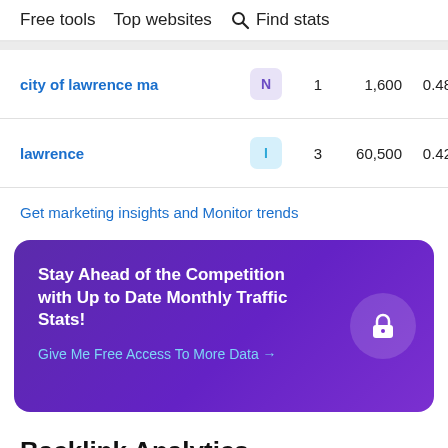Free tools   Top websites   Find stats
| Keyword | Type | Pos | Volume | CPC |
| --- | --- | --- | --- | --- |
| city of lawrence ma | N | 1 | 1,600 | 0.48 |
| lawrence | I | 3 | 60,500 | 0.42 |
Get marketing insights and Monitor trends
[Figure (infographic): Promotional banner with purple gradient background showing 'Stay Ahead of the Competition with Up to Date Monthly Traffic Stats!' with a lock icon and CTA link 'Give Me Free Access To More Data →']
Backlink Analytics